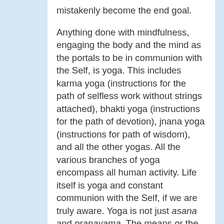mistakenly become the end goal.
Anything done with mindfulness, engaging the body and the mind as the portals to be in communion with the Self, is yoga. This includes karma yoga (instructions for the path of selfless work without strings attached), bhakti yoga (instructions for the path of devotion), jnana yoga (instructions for path of wisdom), and all the other yogas. All the various branches of yoga encompass all human activity. Life itself is yoga and constant communion with the Self, if we are truly aware. Yoga is not just asana and pranayama. The means or the paths can vary and be numerous or even infinite; the end remains the one and the same.
Does it really matter whether we get to Manhattan from New Jersey via the George...